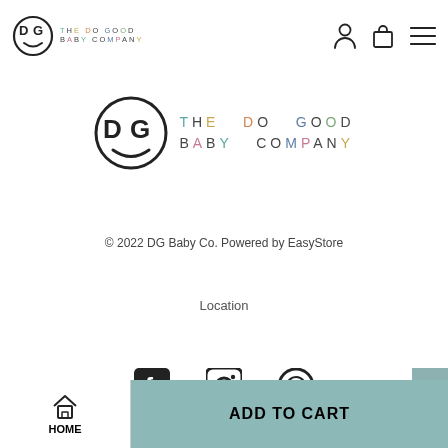DG THE DO GOOD BABY COMPANY [nav icons]
[Figure (logo): DG The Do Good Baby Company logo - large centered version with smiley face circle and colorful lettering]
© 2022 DG Baby Co. Powered by EasyStore
Location
[Figure (infographic): Social media icons: Facebook, Instagram, WhatsApp]
[Figure (infographic): Payment icons: VISA and MasterCard]
HOME | ADD TO CART